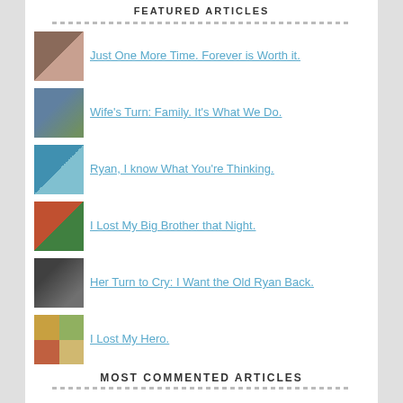FEATURED ARTICLES
Just One More Time. Forever is Worth it.
Wife's Turn: Family. It's What We Do.
Ryan, I know What You're Thinking.
I Lost My Big Brother that Night.
Her Turn to Cry: I Want the Old Ryan Back.
I Lost My Hero.
MOST COMMENTED ARTICLES